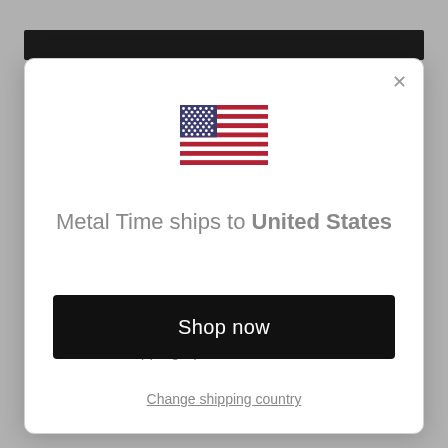[Figure (illustration): US flag emoji/icon displayed centered in the modal dialog]
Metal Time ships to United States
Shop in USD $
Get shipping options for United States
Shop now
Change shipping country